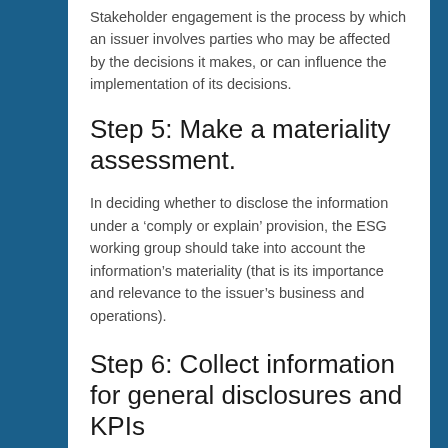Stakeholder engagement is the process by which an issuer involves parties who may be affected by the decisions it makes, or can influence the implementation of its decisions.
Step 5: Make a materiality assessment.
In deciding whether to disclose the information under a ‘comply or explain’ provision, the ESG working group should take into account the information’s materiality (that is its importance and relevance to the issuer’s business and operations).
Step 6: Collect information for general disclosures and KPIs